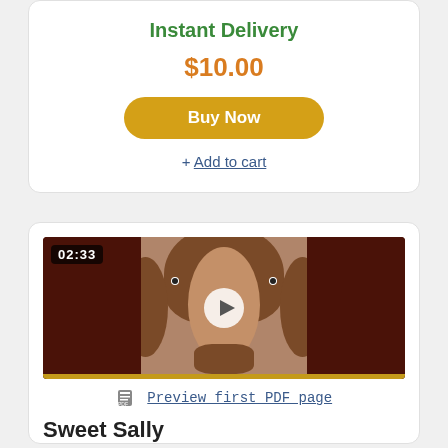Instant Delivery
$10.00
Buy Now
+ Add to cart
[Figure (screenshot): Video thumbnail showing a man with curly long hair and a beard, with a play button in the center, a timestamp '02:33' in the top left, and a yellow progress bar at the bottom]
Preview first PDF page
Sweet Sally